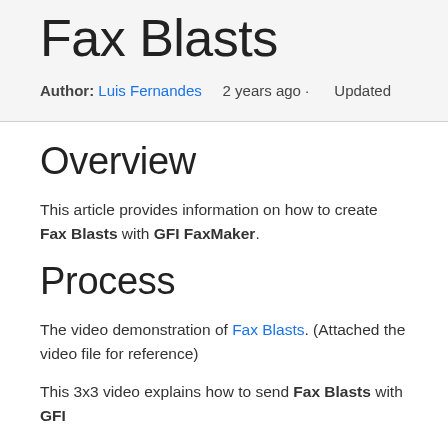Fax Blasts
Author: Luis Fernandes  2 years ago · Updated
Overview
This article provides information on how to create Fax Blasts with GFI FaxMaker.
Process
The video demonstration of Fax Blasts. (Attached the video file for reference)
This 3x3 video explains how to send Fax Blasts with GFI